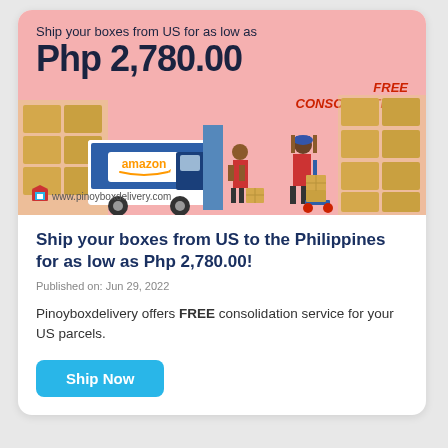[Figure (illustration): Pink banner advertisement showing Amazon delivery truck, warehouse workers with boxes on cart, stacked boxes background. Text on banner: 'Ship your boxes from US for as low as Php 2,780.00' and 'FREE CONSOLIDATION!' with website www.pinoyboxdelivery.com and a Pinoybox logo.]
Ship your boxes from US to the Philippines for as low as Php 2,780.00!
Published on: Jun 29, 2022
Pinoyboxdelivery offers FREE consolidation service for your US parcels.
Ship Now